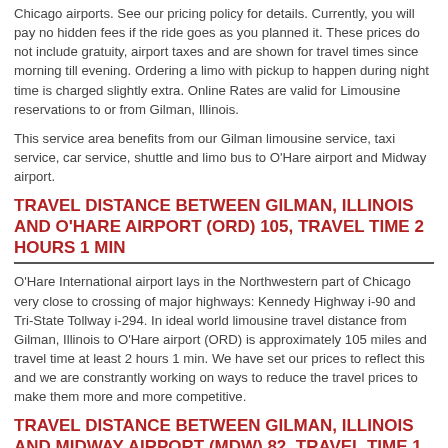Chicago airports. See our pricing policy for details. Currently, you will pay no hidden fees if the ride goes as you planned it. These prices do not include gratuity, airport taxes and are shown for travel times since morning till evening. Ordering a limo with pickup to happen during night time is charged slightly extra. Online Rates are valid for Limousine reservations to or from Gilman, Illinois.
This service area benefits from our Gilman limousine service, taxi service, car service, shuttle and limo bus to O'Hare airport and Midway airport.
TRAVEL DISTANCE BETWEEN GILMAN, ILLINOIS AND O'HARE AIRPORT (ORD) 105, TRAVEL TIME 2 HOURS 1 MIN
O'Hare International airport lays in the Northwestern part of Chicago very close to crossing of major highways: Kennedy Highway i-90 and Tri-State Tollway i-294. In ideal world limousine travel distance from Gilman, Illinois to O'Hare airport (ORD) is approximately 105 miles and travel time at least 2 hours 1 min. We have set our prices to reflect this and we are constrantly working on ways to reduce the travel prices to make them more and more competitive.
TRAVEL DISTANCE BETWEEN GILMAN, ILLINOIS AND MIDWAY AIRPORT (MDW) 82, TRAVEL TIME 1 HOUR 41 MINS